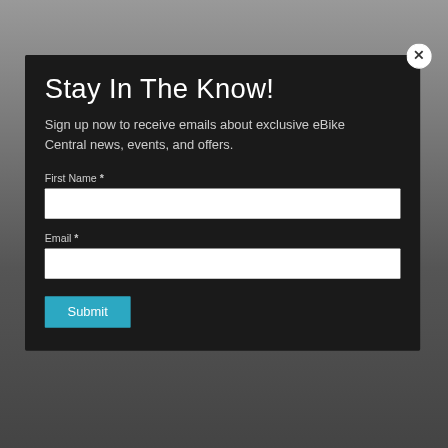[Figure (screenshot): Dark modal dialog overlay on a blurred webpage background. Modal contains a newsletter signup form with title, description, first name field, email field, and submit button. A close button (X) appears in the top-right corner of the modal.]
Stay In The Know!
Sign up now to receive emails about exclusive eBike Central news, events, and offers.
First Name *
Email *
Submit